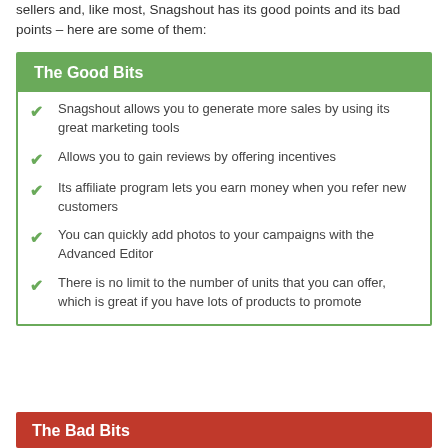sellers and, like most, Snagshout has its good points and its bad points – here are some of them:
The Good Bits
Snagshout allows you to generate more sales by using its great marketing tools
Allows you to gain reviews by offering incentives
Its affiliate program lets you earn money when you refer new customers
You can quickly add photos to your campaigns with the Advanced Editor
There is no limit to the number of units that you can offer, which is great if you have lots of products to promote
The Bad Bits